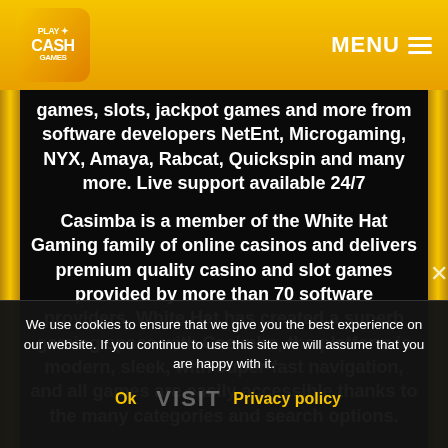Play Cash Games | MENU
games, slots, jackpot games and more from software developers NetEnt, Microgaming, NYX, Amaya, Rabcat, Quickspin and many more. Live support available 24/7
Casimba is a member of the White Hat Gaming family of online casinos and delivers premium quality casino and slot games provided by more than 70 software providers. White Hat has created a superb gaming space with Casimba, the platform is modern, sleek, with super-fast navigation, and all games are easily accessible thanks to the many categories and search options.
We use cookies to ensure that we give you the best experience on our website. If you continue to use this site we will assume that you are happy with it.
Ok | VISIT | Privacy policy